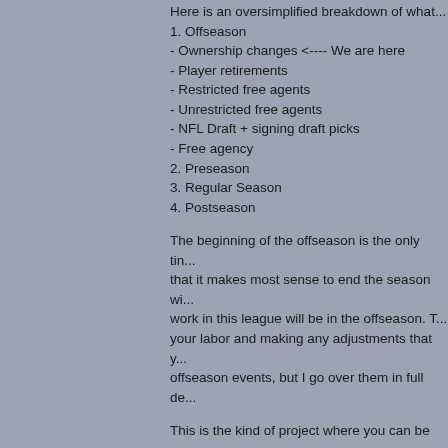Here is an oversimplified breakdown of what...
1. Offseason
- Ownership changes <---- We are here
- Player retirements
- Restricted free agents
- Unrestricted free agents
- NFL Draft + signing draft picks
- Free agency
2. Preseason
3. Regular Season
4. Postseason
The beginning of the offseason is the only tim... that it makes most sense to end the season wi... work in this league will be in the offseason. T... your labor and making any adjustments that y... offseason events, but I go over them in full de...
This is the kind of project where you can be a... people put in a lot of effort, but I totally unde... affect the amount of time they are able to put... those active and inactive. We've even had use... Super Bowls or make it far into the playoffs.... your availability, let me assuage some possib... and I give users plenty of time to do their task... ...to update. Should easily be i...